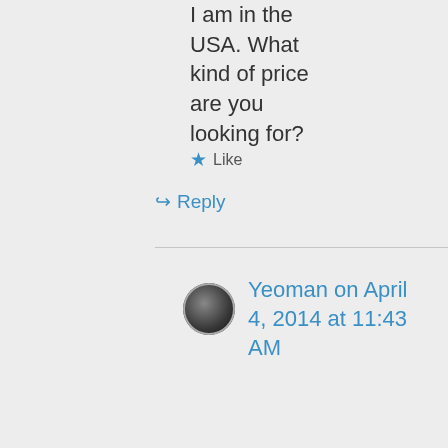I am in the USA. What kind of price are you looking for?
★ Like
↳ Reply
[Figure (photo): Small circular avatar image of a watch or compass face]
Yeoman on April 4, 2014 at 11:43 AM